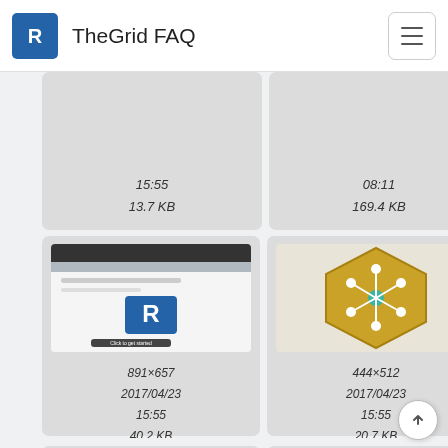TheGrid FAQ
[Figure (screenshot): File grid showing image thumbnails with filenames, dimensions, dates, and file sizes. Row 1 (partial): three cards showing times 15:55 / 13.7 KB, 08:11 / 169.4 KB, 12:... / 148.... Row 2: countries.p... (891×657, 2017/04/23, 15:55, 40.2 KB), d78f64c7c1... (444×512, 2017/04/23, 15:55, 20.7 KB), and a third card (partial, with context menu showing icons). Row 3 (partial): three hexagonal badge thumbnails.]
15:55
13.7 KB
08:11
169.4 KB
countries.p...
891×657
2017/04/23
15:55
40.2 KB
d78f64c7c1...
444×512
2017/04/23
15:55
20.7 KB
10...
143....